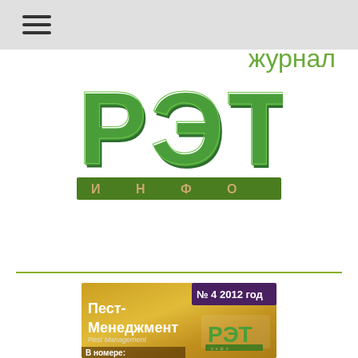≡ (navigation/hamburger menu)
[Figure (logo): РЭТ ИНФО logo — large green 3D letters РЭТ above a green rectangle with И Н Ф О in gold/beige lettering]
Научно-практический журнал
[Figure (illustration): Magazine cover: №4 2012 год, Пест-Менеджмент / Pest Management, РЭТ ИНФО logo, В номере:, gold/wheat background]